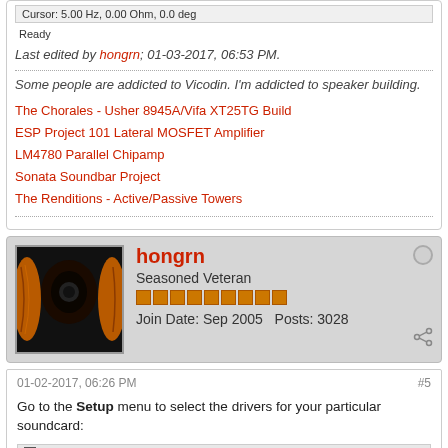Cursor: 5.00 Hz, 0.00 Ohm, 0.0 deg
Ready
Last edited by hongrn; 01-03-2017, 06:53 PM.
Some people are addicted to Vicodin. I'm addicted to speaker building.
The Chorales - Usher 8945A/Vifa XT25TG Build
ESP Project 101 Lateral MOSFET Amplifier
LM4780 Parallel Chipamp
Sonata Soundbar Project
The Renditions - Active/Passive Towers
hongrn
Seasoned Veteran
Join Date: Sep 2005   Posts: 3028
01-02-2017, 06:26 PM
#5
Go to the Setup menu to select the drivers for your particular soundcard:
[Figure (screenshot): Screenshot of Limp audio software showing the Setup menu highlighted with an arrow pointing to Audio devices button in toolbar]